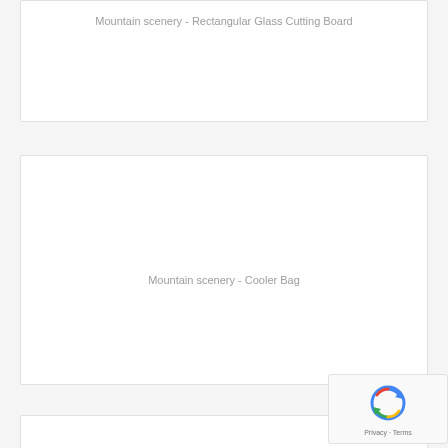Mountain scenery - Rectangular Glass Cutting Board
[Figure (other): Product card placeholder area for Mountain scenery - Rectangular Glass Cutting Board]
Mountain scenery - Cooler Bag
[Figure (other): Product card placeholder area for Mountain scenery - Cooler Bag]
[Figure (other): reCAPTCHA widget overlay showing recaptcha icon and Privacy - Terms text]
Privacy - Terms